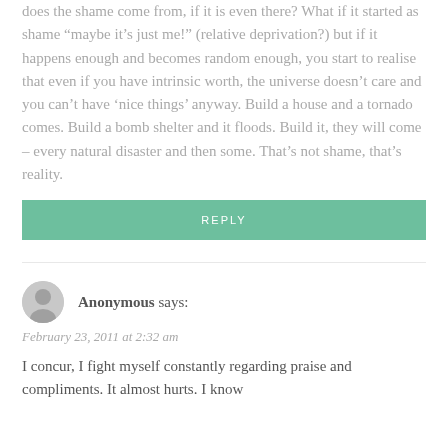does the shame come from, if it is even there? What if it started as shame “maybe it’s just me!” (relative deprivation?) but if it happens enough and becomes random enough, you start to realise that even if you have intrinsic worth, the universe doesn’t care and you can’t have ‘nice things’ anyway. Build a house and a tornado comes. Build a bomb shelter and it floods. Build it, they will come – every natural disaster and then some. That’s not shame, that’s reality.
REPLY
Anonymous says:
February 23, 2011 at 2:32 am
I concur, I fight myself constantly regarding praise and compliments. It almost hurts. I know